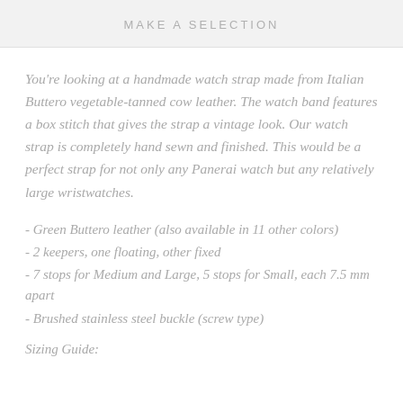MAKE A SELECTION
You're looking at a handmade watch strap made from Italian Buttero vegetable-tanned cow leather. The watch band features a box stitch that gives the strap a vintage look. Our watch strap is completely hand sewn and finished. This would be a perfect strap for not only any Panerai watch but any relatively large wristwatches.
- Green Buttero leather (also available in 11 other colors)
- 2 keepers, one floating, other fixed
- 7 stops for Medium and Large, 5 stops for Small, each 7.5 mm apart
- Brushed stainless steel buckle (screw type)
Sizing Guide: